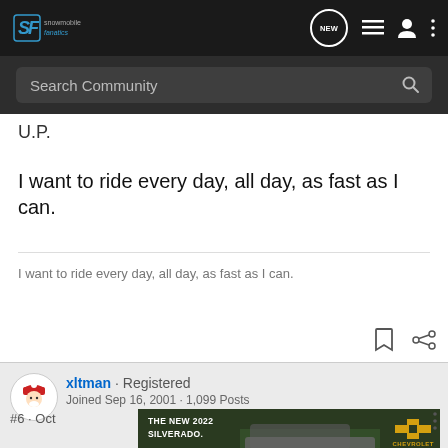Snowmobile Fanatics — Navigation bar with logo, NEW button, list icon, user icon, more icon
Search Community
U.P.
I want to ride every day, all day, as fast as I can.
I want to ride every day, all day, as fast as I can.
xltman · Registered
Joined Sep 16, 2001 · 1,099 Posts
[Figure (screenshot): Chevrolet advertisement banner for The New 2022 Silverado with Explore button and Chevrolet logo]
#6 · Oct